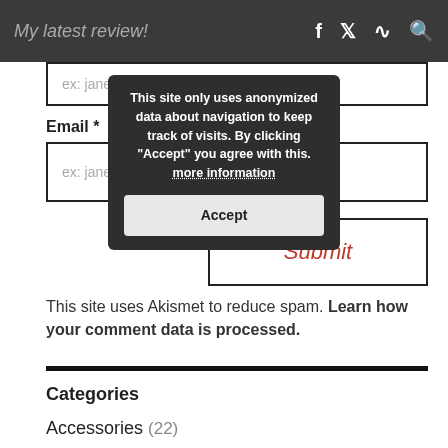My latest review!
ex: jane doe
Email *
ex: janedoe@gmail.co...
[Figure (screenshot): Cookie consent popup: 'This site only uses anonymized data about navigation to keep track of visits. By clicking "Accept" you agree with this. more information' with an Accept button]
Submit
This site uses Akismet to reduce spam. Learn how your comment data is processed.
Categories
Accessories (22)